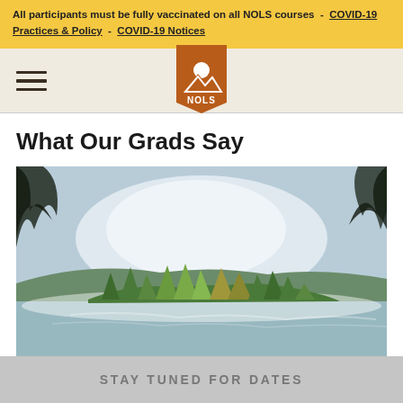All participants must be fully vaccinated on all NOLS courses - COVID-19 Practices & Policy - COVID-19 Notices
[Figure (logo): NOLS logo — orange pennant shape with mountain and sunrise icon above 'NOLS' text]
What Our Grads Say
[Figure (photo): Outdoor nature photo showing a misty lake scene with an island of evergreen and deciduous trees in the foreground, a forested hillside in the background, under a hazy overcast sky. Dark blurred tree branches frame the top corners.]
STAY TUNED FOR DATES